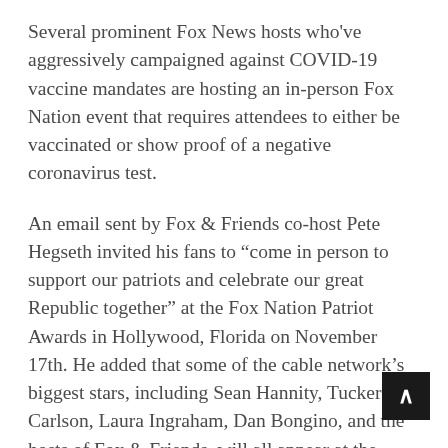Several prominent Fox News hosts who've aggressively campaigned against COVID-19 vaccine mandates are hosting an in-person Fox Nation event that requires attendees to either be vaccinated or show proof of a negative coronavirus test.
An email sent by Fox & Friends co-host Pete Hegseth invited his fans to “come in person to support our patriots and celebrate our great Republic together” at the Fox Nation Patriot Awards in Hollywood, Florida on November 17th. He added that some of the cable network’s biggest stars, including Sean Hannity, Tucker Carlson, Laura Ingraham, Dan Bongino, and the hosts of Fox & Friends, will all appear at the event.